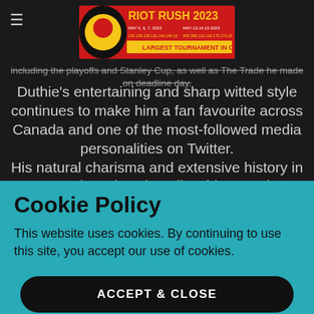including the playoffs and Stanley Cup, as well as The Trade he made on deadline day.
[Figure (illustration): Riot Rush 2023 tournament banner - LARGEST TOURNAMENT IN OTTAWA, May 5,6,7 2023 and May 13,14,15 2023]
Duthie's entertaining and sharp-witted style continues to make him a fan favourite across Canada and one of the most-followed media personalities on Twitter.
His natural charisma and extensive history in sports broadcasting allow him to gain exclusive interviews with some of the biggest stars in sports
Cookie Policy
This website uses cookies. By continuing to use this site, you accept our use of cookies.
ACCEPT & CLOSE